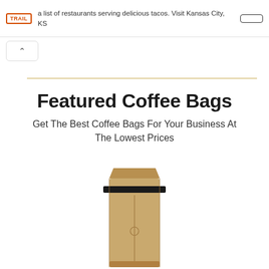a list of restaurants serving delicious tacos. Visit Kansas City, KS
[Figure (logo): TRAIL badge/logo in orange border]
[Figure (other): Button outline in top right corner]
[Figure (other): Collapse/chevron up button]
Featured Coffee Bags
Get The Best Coffee Bags For Your Business At The Lowest Prices
[Figure (photo): Kraft paper coffee bag with black tin tie closure, standing upright on white background]